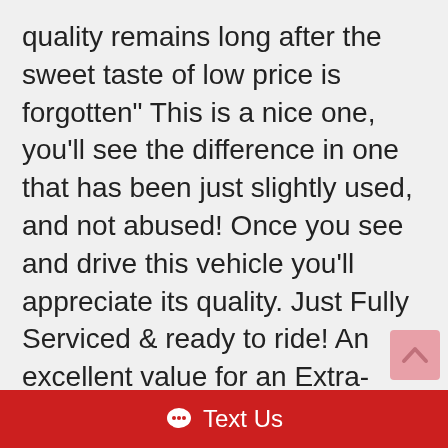quality remains long after the sweet taste of low price is forgotten" This is a nice one, you'll see the difference in one that has been just slightly used, and not abused! Once you see and drive this vehicle you'll appreciate its quality. Just Fully Serviced & ready to ride! An excellent value for an Extra- Clean vehicle., come see it in person and you'll agree that this
[Figure (other): Scroll-to-top button (pink/light red rounded rectangle with up chevron)]
[Figure (other): Chat bubble icon (dark circle with letter i)]
Text Us